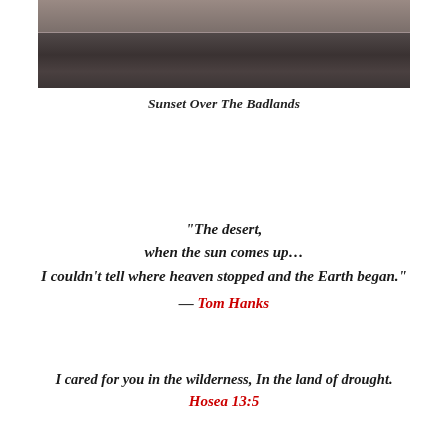[Figure (photo): Panoramic landscape photograph of a desert/badlands scene at sunset with dark terrain and muted sky]
Sunset Over The Badlands
“The desert, when the sun comes up… I couldn’t tell where heaven stopped and the Earth began.” — Tom Hanks
I cared for you in the wilderness, In the land of drought. Hosea 13:5